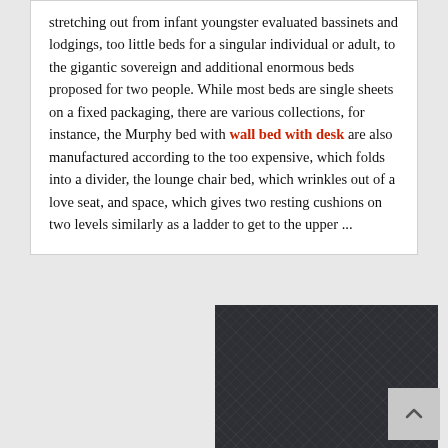stretching out from infant youngster evaluated bassinets and lodgings, too little beds for a singular individual or adult, to the gigantic sovereign and additional enormous beds proposed for two people. While most beds are single sheets on a fixed packaging, there are various collections, for instance, the Murphy bed with wall bed with desk  are also manufactured according to the too expensive, which folds into a divider, the lounge chair bed, which wrinkles out of a love seat, and space, which gives two resting cushions on two levels similarly as a ladder to get to the upper ...
[Figure (photo): Dark charcoal/grey textured fabric or material surface]